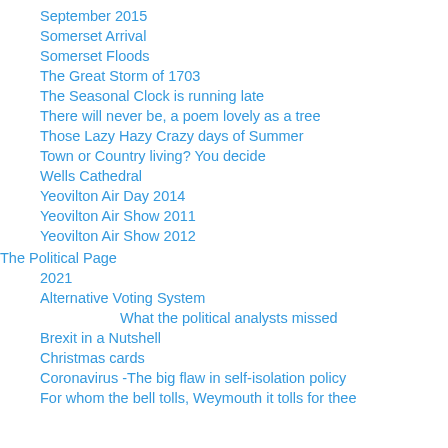September 2015
Somerset Arrival
Somerset Floods
The Great Storm of 1703
The Seasonal Clock is running late
There will never be, a poem lovely as a tree
Those Lazy Hazy Crazy days of Summer
Town or Country living? You decide
Wells Cathedral
Yeovilton Air Day 2014
Yeovilton Air Show 2011
Yeovilton Air Show 2012
The Political Page
2021
Alternative Voting System
What the political analysts missed
Brexit in a Nutshell
Christmas cards
Coronavirus -The big flaw in self-isolation policy
For whom the bell tolls, Weymouth it tolls for thee